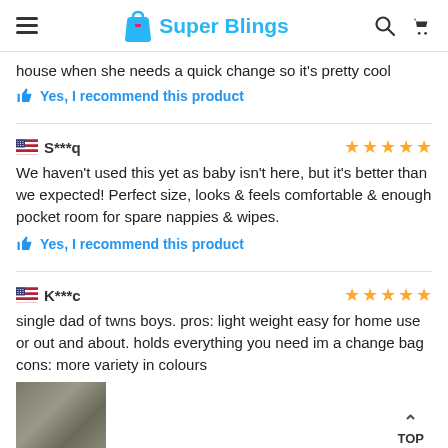Super Blings
house when she needs a quick change so it's pretty cool
Yes, I recommend this product
S***q — 5 stars
We haven't used this yet as baby isn't here, but it's better than we expected! Perfect size, looks & feels comfortable & enough pocket room for spare nappies & wipes.
Yes, I recommend this product
K***c — 5 stars
single dad of twns boys. pros: light weight easy for home use or out and about. holds everything you need im a change bag cons: more variety in colours
[Figure (photo): Thumbnail photo of a bag product, brownish-grey fabric texture]